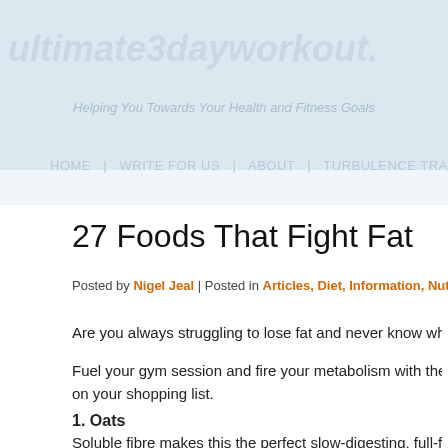ultimate3dayworkout.
Helping You Towards Your Health and Fitness Goals
HOME | WRITE FOR US | ABOUT | TURBULENCE TRAINI…
27 Foods That Fight Fat
Posted by Nigel Jeal | Posted in Articles, Diet, Information, Nutrition | Posted on 06…
Are you always struggling to lose fat and never know what foods to eat?
Fuel your gym session and fire your metabolism with the right food. These… on your shopping list.
1. Oats
Soluble fibre makes this the perfect slow-digesting, full-for-longer breakfa…